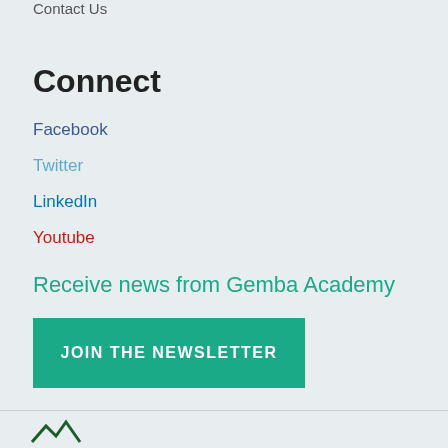Contact Us
Connect
Facebook
Twitter
LinkedIn
Youtube
Receive news from Gemba Academy
JOIN THE NEWSLETTER
[Figure (logo): Gemba Academy logo with mountain peaks icon and GEMBA text in dark green]